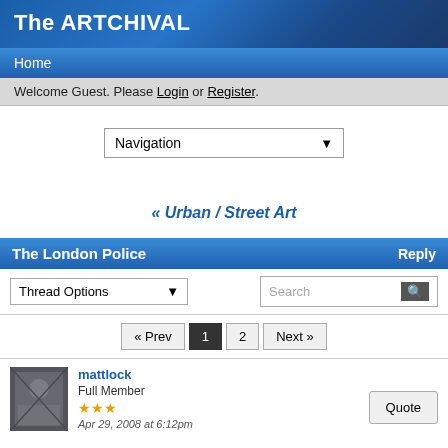The ARTCHIVAL
Home
Welcome Guest. Please Login or Register.
[Figure (screenshot): Navigation dropdown selector]
« Urban / Street Art
The London Police  Reply
[Figure (screenshot): Thread Options dropdown and Search box]
[Figure (screenshot): Pagination: « Prev  1  2  Next »]
mattlock
Full Member
★★★
Apr 29, 2008 at 6:12pm